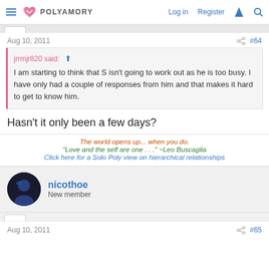POLYAMORY — Log in | Register
Aug 10, 2011  #64
jrrmjr820 said: I am starting to think that S isn't going to work out as he is too busy. I have only had a couple of responses from him and that makes it hard to get to know him.
Hasn't it only been a few days?
The world opens up... when you do.
"Love and the self are one . . ." ~Leo Buscaglia
Click here for a Solo Poly view on hierarchical relationships
nicothoe
New member
Aug 10, 2011  #65